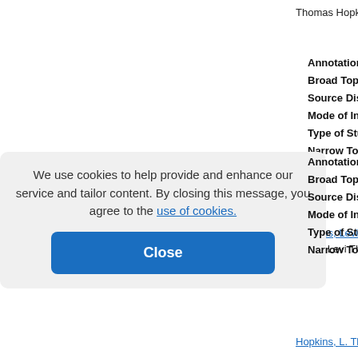Thomas Hopkins
Annotation:
Broad Topic
Source Disc
Mode of Inq
Type of Stu
Narrow Top
Hopkins, Levi Thom...
1937., Levi Thomas
Annotation:
Broad Topic
Source Disc
Mode of Inq
Type of Stu
Narrow Top
We use cookies to help provide and enhance our service and tailor content. By closing this message, you agree to the use of cookies.
Close
Hopkins, L. Thomas